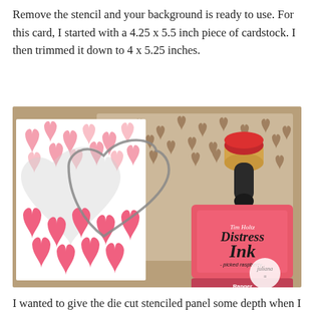Remove the stencil and your background is ready to use. For this card, I started with a 4.25 x 5.5 inch piece of cardstock. I then trimmed it down to 4 x 5.25 inches.
[Figure (photo): Photo showing crafting supplies: a white card with pink heart pattern, a heart-shaped die cut frame, a stencil with heart cutouts on kraft brown background, a Distress Ink pad (Picked Raspberry by Ranger), and a dauber/ink blending tool.]
I wanted to give the die cut stenciled panel some depth when I